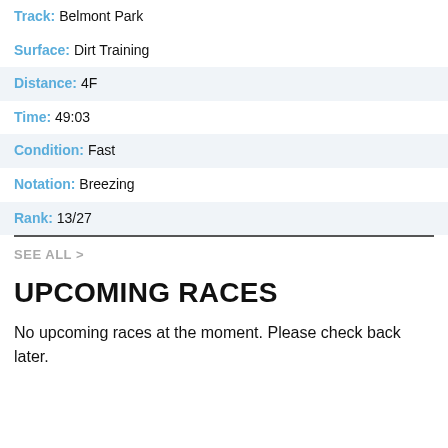Track: Belmont Park
Surface: Dirt Training
Distance: 4F
Time: 49:03
Condition: Fast
Notation: Breezing
Rank: 13/27
SEE ALL >
UPCOMING RACES
No upcoming races at the moment. Please check back later.